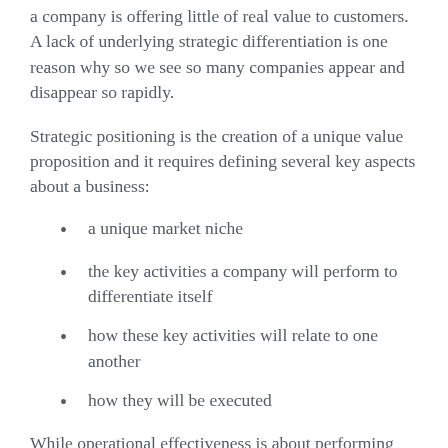a company is offering little of real value to customers. A lack of underlying strategic differentiation is one reason why so we see so many companies appear and disappear so rapidly.
Strategic positioning is the creation of a unique value proposition and it requires defining several key aspects about a business:
a unique market niche
the key activities a company will perform to differentiate itself
how these key activities will relate to one another
how they will be executed
While operational effectiveness is about performing the same activities better than rivals, strategy is about performing different activities, or similar